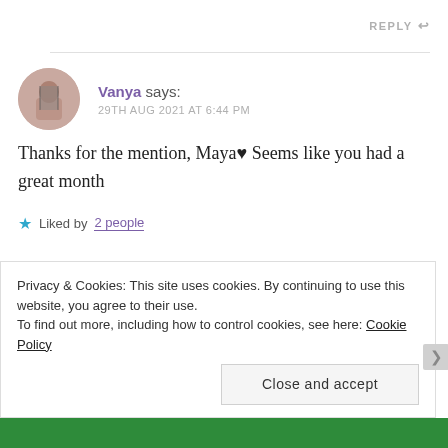REPLY ↩
Vanya says:
29TH AUG 2021 AT 6:44 PM
Thanks for the mention, Maya♥ Seems like you had a great month
★ Liked by 2 people
Privacy & Cookies: This site uses cookies. By continuing to use this website, you agree to their use.
To find out more, including how to control cookies, see here: Cookie Policy
Close and accept